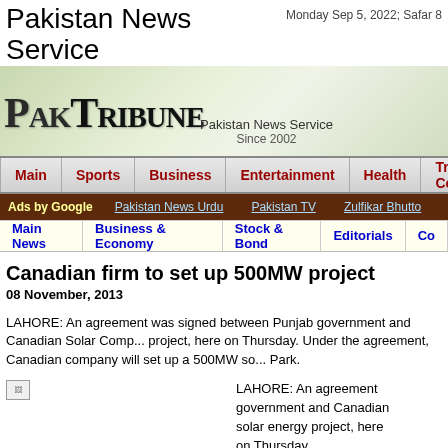Pakistan News Service
Monday Sep 5, 2022; Safar 8
[Figure (logo): PakTribune logo with gothic text on green gradient background, tagline: Pakistan News Service Since 2002]
Main | Sports | Business | Entertainment | Health | Tribune Co
Ads by Google  Pakistan News Urdu  Pakistan TV  Zulfikar Bhutto
Main News | Business & Economy | Stock & Bond | Editorials | Co
Canadian firm to set up 500MW project
08 November, 2013
LAHORE: An agreement was signed between Punjab government and Canadian Solar Company for a solar energy project, here on Thursday. Under the agreement, Canadian company will set up a 500MW solar energy project at Quaid-e-Azam Solar Park.
[Figure (photo): Broken image placeholder]
LAHORE: An agreement was signed between Punjab government and Canadian Solar Company for a solar energy project, here on Thursday. Under the agreement, Canadian company will set up a 500MW solar energy project at...